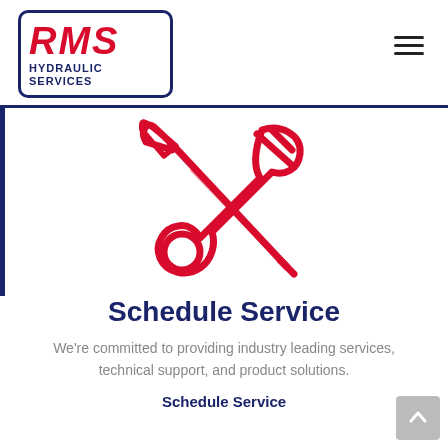RMS HYDRAULIC SERVICES
[Figure (illustration): Red icon of crossed wrench and screwdriver tools]
Schedule Service
We're committed to providing industry leading services, technical support, and product solutions.
Schedule Service